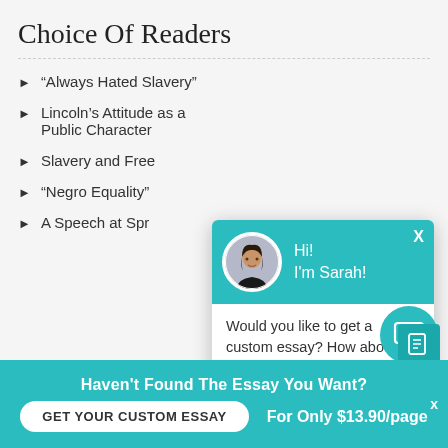Choice Of Readers
“Always Hated Slavery”
Lincoln’s Attitude as a Public Character
Slavery and Freedom
“Negro Equality”
A Speech at Springfield
[Figure (other): Chat popup with avatar photo of Sarah, teal header saying Hi! I'm Sarah!, and body text: Would you like to get a custom essay? How about receiving a customized one? Check it out]
Haven’t Found The Essay You Want?
GET YOUR CUSTOM ESSAY
For Only $13.90/page